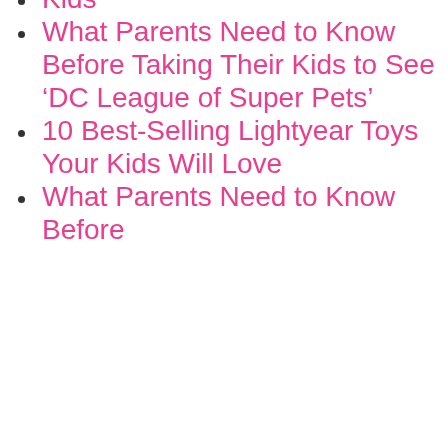Kids
What Parents Need to Know Before Taking Their Kids to See ‘DC League of Super Pets’
10 Best-Selling Lightyear Toys Your Kids Will Love
What Parents Need to Know Before